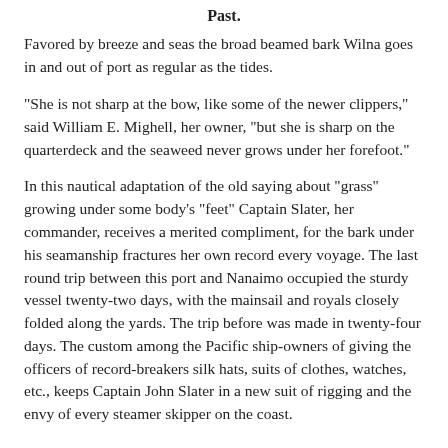Past.
Favored by breeze and seas the broad beamed bark Wilna goes in and out of port as regular as the tides.
"She is not sharp at the bow, like some of the newer clippers," said William E. Mighell, her owner, "but she is sharp on the quarterdeck and the seaweed never grows under her forefoot."
In this nautical adaptation of the old saying about "grass" growing under some body's "feet" Captain Slater, her commander, receives a merited compliment, for the bark under his seamanship fractures her own record every voyage. The last round trip between this port and Nanaimo occupied the sturdy vessel twenty-two days, with the mainsail and royals closely folded along the yards. The trip before was made in twenty-four days. The custom among the Pacific ship-owners of giving the officers of record-breakers silk hats, suits of clothes, watches, etc., keeps Captain John Slater in a new suit of rigging and the envy of every steamer skipper on the coast.